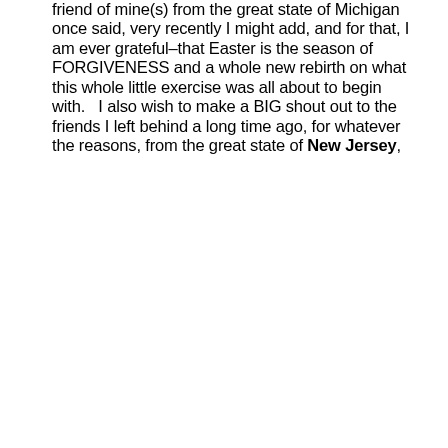friend of mine(s) from the great state of Michigan once said, very recently I might add, and for that, I am ever grateful–that Easter is the season of FORGIVENESS and a whole new rebirth on what this whole little exercise was all about to begin with.   I also wish to make a BIG shout out to the friends I left behind a long time ago, for whatever the reasons, from the great state of New Jersey,